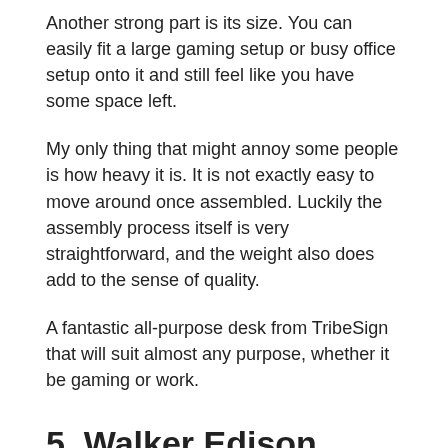Another strong part is its size. You can easily fit a large gaming setup or busy office setup onto it and still feel like you have some space left.
My only thing that might annoy some people is how heavy it is. It is not exactly easy to move around once assembled. Luckily the assembly process itself is very straightforward, and the weight also does add to the sense of quality.
A fantastic all-purpose desk from TribeSign that will suit almost any purpose, whether it be gaming or work.
5. Walker Edison Soreno 3-piece